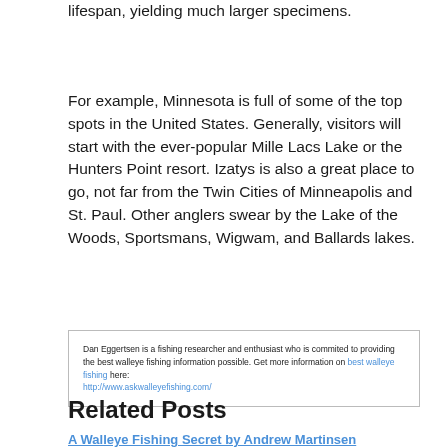lifespan, yielding much larger specimens.
For example, Minnesota is full of some of the top spots in the United States. Generally, visitors will start with the ever-popular Mille Lacs Lake or the Hunters Point resort. Izatys is also a great place to go, not far from the Twin Cities of Minneapolis and St. Paul. Other anglers swear by the Lake of the Woods, Sportsmans, Wigwam, and Ballards lakes.
Dan Eggertsen is a fishing researcher and enthusiast who is commited to providing the best walleye fishing information possible. Get more information on best walleye fishing here: http://www.askwalleyefishing.com/
Related Posts
A Walleye Fishing Secret by Andrew Martinsen